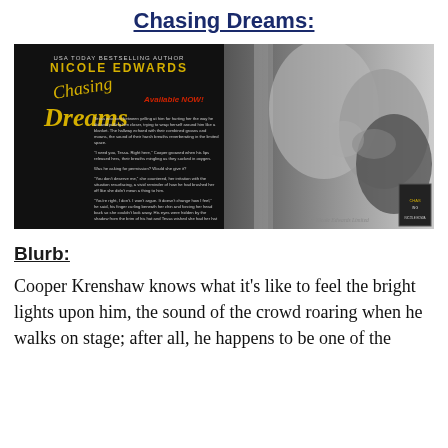Chasing Dreams:
[Figure (photo): Book cover and promotional image for 'Chasing Dreams' by Nicole Edwards. Left half shows the book cover with text excerpt on dark background; right half shows a black-and-white close-up photo of a couple kissing.]
Blurb:
Cooper Krenshaw knows what it's like to feel the bright lights upon him, the sound of the crowd roaring when he walks on stage; after all, he happens to be one of the